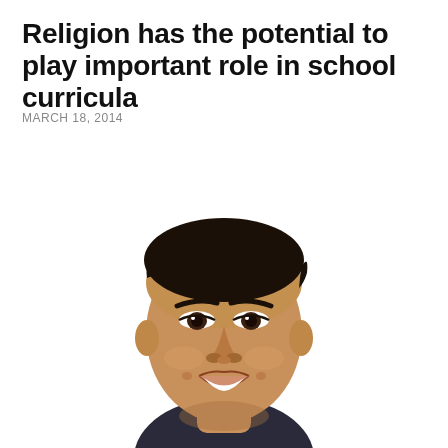Religion has the potential to play important role in school curricula
MARCH 18, 2014
[Figure (photo): Headshot portrait of a young Asian man smiling, wearing a dark collared shirt, against a white background]